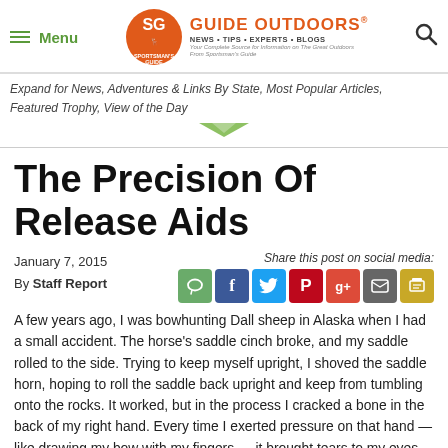Menu | GUIDE OUTDOORS® NEWS • TIPS • EXPERTS • BLOGS | Sportsman's Guide
Expand for News, Adventures & Links By State, Most Popular Articles, Featured Trophy, View of the Day
The Precision Of Release Aids
January 7, 2015
By Staff Report
Share this post on social media:
A few years ago, I was bowhunting Dall sheep in Alaska when I had a small accident. The horse's saddle cinch broke, and my saddle rolled to the side. Trying to keep myself upright, I shoved the saddle horn, hoping to roll the saddle back upright and keep from tumbling onto the rocks. It worked, but in the process I cracked a bone in the back of my right hand. Every time I exerted pressure on that hand — like drawing my bow with my fingers — it brought tears to my eyes.